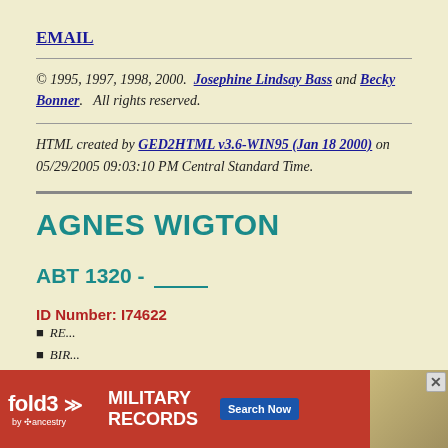EMAIL
© 1995, 1997, 1998, 2000.  Josephine Lindsay Bass and Becky Bonner.   All rights reserved.
HTML created by GED2HTML v3.6-WIN95 (Jan 18 2000) on 05/29/2005 09:03:10 PM Central Standard Time.
AGNES WIGTON
ABT 1320 - ______
ID Number: I74622
[Figure (other): fold3 by ancestry advertisement banner for Military Records with Search Now button and historical photo]